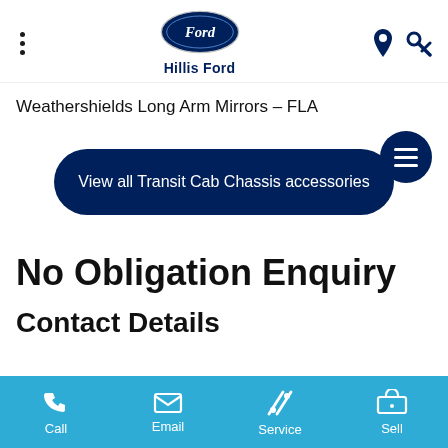Hillis Ford
Weathershields Long Arm Mirrors – FLA
View all Transit Cab Chassis accessories
No Obligation Enquiry
Contact Details
Call | Email | Service | Sell